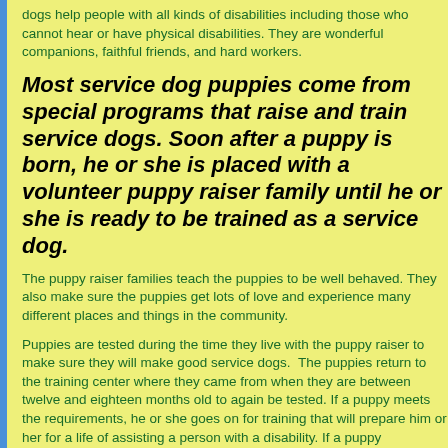dogs help people with all kinds of disabilities including those who cannot hear or have physical disabilities. They are wonderful companions, faithful friends, and hard workers.
Most service dog puppies come from special programs that raise and train service dogs. Soon after a puppy is born, he or she is placed with a volunteer puppy raiser family until he or she is ready to be trained as a service dog.
The puppy raiser families teach the puppies to be well behaved. They also make sure the puppies get lots of love and experience many different places and things in the community.
Puppies are tested during the time they live with the puppy raiser to make sure they will make good service dogs. The puppies return to the training center where they came from when they are between twelve and eighteen months old to again be tested. If a puppy meets the requirements, he or she goes on for training that will prepare him or her for a life of assisting a person with a disability. If a puppy